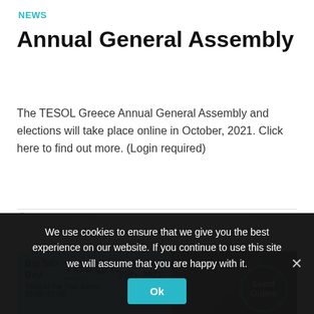NEWS
Annual General Assembly
The TESOL Greece Annual General Assembly and elections will take place online in October, 2021. Click here to find out more. (Login required)
COMMENTS OFF   27/09/2021
[Figure (photo): Event banner for Big SIG Day TESOL Greece, September 26th, 2021, Start of the Year Event, 10:00-17:30, Event Online]
We use cookies to ensure that we give you the best experience on our website. If you continue to use this site we will assume that you are happy with it.